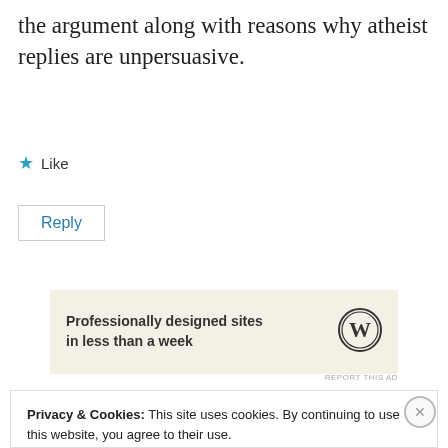the argument along with reasons why atheist replies are unpersuasive.
★ Like
Reply
[Figure (other): WordPress advertisement banner with text 'Professionally designed sites in less than a week' and WordPress logo on beige background]
REPORT THIS AD
Privacy & Cookies: This site uses cookies. By continuing to use this website, you agree to their use.
To find out more, including how to control cookies, see here:
Cookie Policy
Close and accept